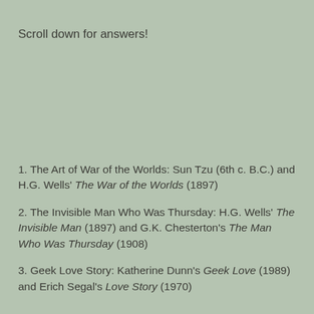Scroll down for answers!
1. The Art of War of the Worlds: Sun Tzu (6th c. B.C.) and H.G. Wells' The War of the Worlds (1897)
2. The Invisible Man Who Was Thursday: H.G. Wells' The Invisible Man (1897) and G.K. Chesterton's The Man Who Was Thursday (1908)
3. Geek Love Story: Katherine Dunn's Geek Love (1989) and Erich Segal's Love Story (1970)